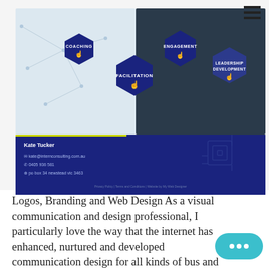[Figure (screenshot): Screenshot of a consulting website showing a dark navy blue and white design with four hexagonal service icons labeled: COACHING, FACILITATION, ENGAGEMENT, LEADERSHIP DEVELOPMENT, each with a hand-touch icon. Below is a contact card for Kate Tucker with email kate@internconsulting.com.au, phone 0405 936 581, address po box 34 newstead vic 3463. Background imagery shows a network diagram and aerial city road interchange.]
Logos, Branding and Web Design As a visual communication and design professional, I particularly love the way that the internet has enhanced, nurtured and developed communication design for all kinds of businesses and organisations. It is my job to ensure that our clients receive the best and most appropriate